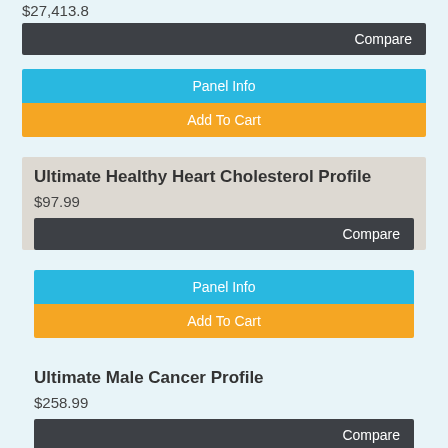$27,413.8
Compare
Panel Info
Add To Cart
Ultimate Healthy Heart Cholesterol Profile
$97.99
Compare
Panel Info
Add To Cart
Ultimate Male Cancer Profile
$258.99
Compare
Panel Info
Add To Cart
Ultimate STD Panel (without Hepatitis)
[Figure (logo): TrustedSite checkmark badge]